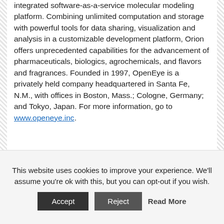integrated software-as-a-service molecular modeling platform. Combining unlimited computation and storage with powerful tools for data sharing, visualization and analysis in a customizable development platform, Orion offers unprecedented capabilities for the advancement of pharmaceuticals, biologics, agrochemicals, and flavors and fragrances. Founded in 1997, OpenEye is a privately held company headquartered in Santa Fe, N.M., with offices in Boston, Mass.; Cologne, Germany; and Tokyo, Japan. For more information, go to www.openeye.inc.
Source: OpenEye Scientific, Gaussian
This website uses cookies to improve your experience. We'll assume you're ok with this, but you can opt-out if you wish.